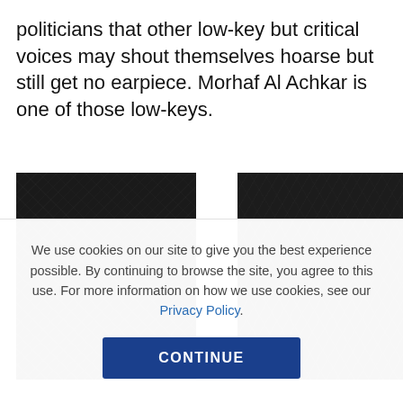politicians that other low-key but critical voices may shout themselves hoarse but still get no earpiece. Morhaf Al Achkar is one of those low-keys.
[Figure (photo): Two dark/nearly black photographs side by side, possibly portraits or textured surfaces, very low exposure.]
We use cookies on our site to give you the best experience possible. By continuing to browse the site, you agree to this use. For more information on how we use cookies, see our Privacy Policy.